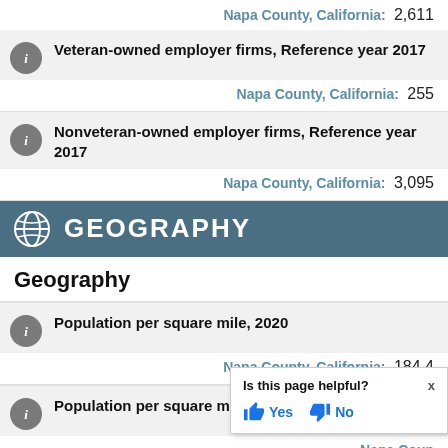Napa County, California: 2,611
Veteran-owned employer firms, Reference year 2017
Napa County, California: 255
Nonveteran-owned employer firms, Reference year 2017
Napa County, California: 3,095
GEOGRAPHY
Geography
Population per square mile, 2020
Napa County, California: 184.4
Population per square mile, 2[partially visible]
Napa Coun[partially visible]